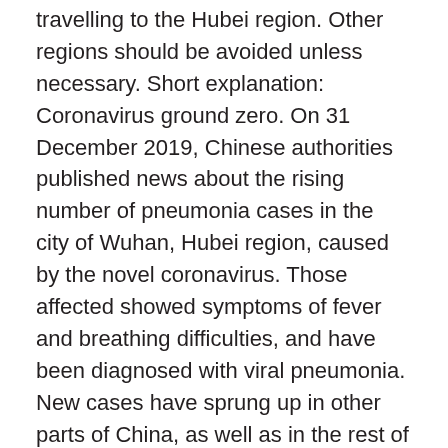travelling to the Hubei region. Other regions should be avoided unless necessary. Short explanation: Coronavirus ground zero. On 31 December 2019, Chinese authorities published news about the rising number of pneumonia cases in the city of Wuhan, Hubei region, caused by the novel coronavirus. Those affected showed symptoms of fever and breathing difficulties, and have been diagnosed with viral pneumonia. New cases have sprung up in other parts of China, as well as in the rest of the world, mostly in persons who had recently visited or been in contact with someone who had visited Wuhan. The possibility of transmitting the infection from person to person has been confirmed. Wuhan and the surrounding area. The city of Wuhan and most of the Hubei region is in a quarantine and transport isolation of sorts, and cannot be left without special permits followed by a two-week quarantine at the destination. We therefore advise against travelling to Hubei and Wuhan, as well as cancelling all travels that are not necessary. Preventive measures. Throughout China, preventive measures have been put in place to prevent further spreading of the virus (transport restrictions, cancelled events, closed tourist attractions etc.) In airports and at rail and subway stations body temperature control